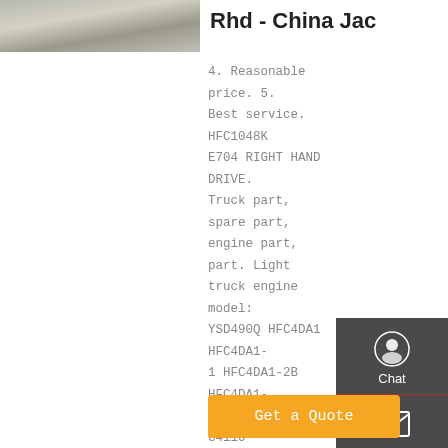[Figure (photo): Truck photo thumbnail on the left side]
Rhd - China Jac
4. Reasonable price. 5. Best service. HFC1048K E704 RIGHT HAND DRIVE. Truck part, spare part, engine part, part. Light truck engine model: YSD490Q HFC4DA1 HFC4DA1-1 HFC4DA1-2B HFC4DA1-2B1. CY4102BQ C4110 CY4102BZQ CY4102BQ CY4102BZLQ CY4102BQ YZ4105QF.
Get a Quote